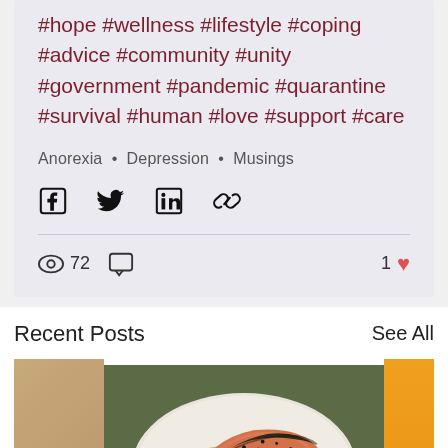#hope #wellness #lifestyle #coping #advice #community #unity #government #pandemic #quarantine #survival #human #love #support #care
Anorexia • Depression • Musings
[Figure (other): Social share icons: Facebook, Twitter, LinkedIn, Link]
72 views, 0 comments, 1 like
Recent Posts
See All
[Figure (photo): Food photo: salmon fillet on pea pasta/spaghetti on a white plate, with a partial yellow/orange image on the right and a partial tan image on the left]